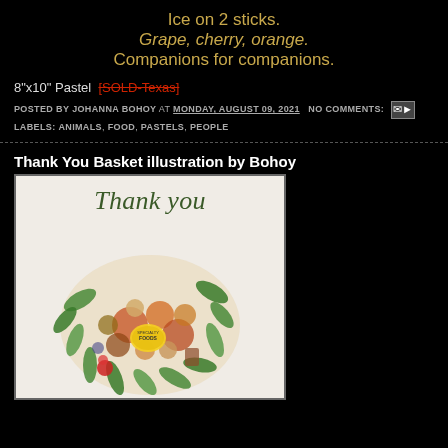Ice on 2 sticks.
Grape, cherry, orange.
Companions for companions.
8"x10" Pastel  [SOLD-Texas]
POSTED BY JOHANNA BOHOY AT MONDAY, AUGUST 09, 2021  NO COMMENTS:
LABELS: ANIMALS, FOOD, PASTELS, PEOPLE
Thank You Basket illustration by Bohoy
[Figure (illustration): Watercolor illustration showing 'Thank you' in green script above a colorful basket arrangement with foods, flowers, and a Specialty Foods label]